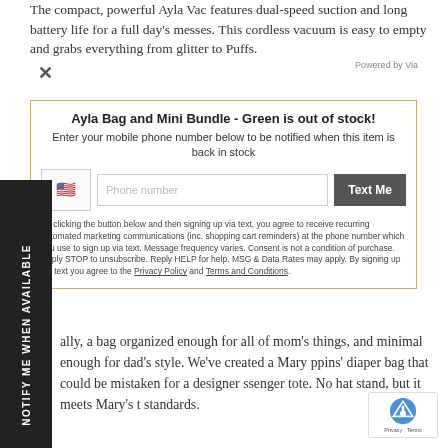The compact, powerful Ayla Vac features dual-speed suction and long battery life for a full day's messes. This cordless vacuum is easy to empty and grabs everything from glitter to Puffs.
[Figure (screenshot): Modal popup overlay showing 'Ayla Bag and Mini Bundle - Green is out of stock!' with phone number entry field and 'Text Me' button for back-in-stock notification]
[Figure (infographic): Black vertical sidebar with rotated white text reading 'NOTIFY ME WHEN AVAILABLE']
ally, a bag organized enough for all of mom's things, and minimal enough for dad's style. We've created a Mary ppins' diaper bag that could be mistaken for a designer ssenger tote. No hat stand, but it meets Mary's standards.